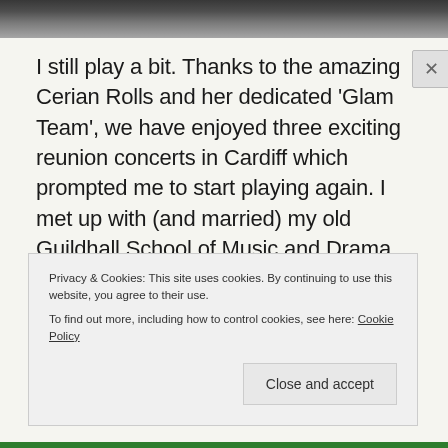[Figure (photo): Black and white photo strip at top of page, partially cropped]
I still play a bit. Thanks to the amazing Cerian Rolls and her dedicated 'Glam Team', we have enjoyed three exciting reunion concerts in Cardiff which prompted me to start playing again. I met up with (and married) my old Guildhall School of Music and Drama trumpet playing pal, John Heritage, in 2015 and we both now play with Newbury Symphony
Privacy & Cookies: This site uses cookies. By continuing to use this website, you agree to their use.
To find out more, including how to control cookies, see here: Cookie Policy
Close and accept